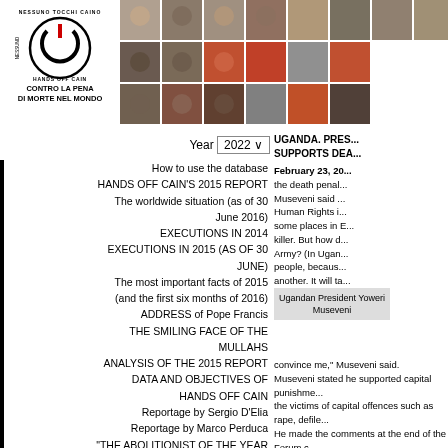[Figure (logo): Hands Off Cain circular logo with power button and text 'Nessuno Tocchi Caino / Hands Off Cain', subtitle 'CONTRO LA PENA DI MORTE NEL MONDO']
[Figure (photo): Grid of mugshot-style face photographs of various individuals]
Year 2022
How to use the database
HANDS OFF CAIN'S 2015 REPORT
The worldwide situation (as of 30 June 2016)
EXECUTIONS IN 2014
EXECUTIONS IN 2015 (as of 30 June)
The most important facts of 2015 (and the first six months of 2016)
ADDRESS of Pope Francis
THE SMILING FACE OF THE MULLAHS
ANALYSIS OF THE 2015 REPORT DATA AND OBJECTIVES OF HANDS OFF CAIN
Reportage by Sergio D'Elia
Reportage by Marco Perduca
"THE ABOLITIONIST OF THE YEAR 2015" AWARD
Protocol of understanding between NTC and CNF
UGANDA. PRES... SUPPORTS DEA...
February 23, 20... the death penal... Museveni said ... Human Rights i... some places in E... killer. But how d... Army? (In Ugan... people, becaus... another. It will ta... convince me," Museveni said. Museveni stated he supported capital punishment... the victims of capital offences such as rape, defile... He made the comments at the end of the Forum c... Speke Resort Munyonyo, a Kampala suburb... Restore International, an American-based NGO,... Institute. Museveni said that HIV carriers who deliberately ... with murder. "People who infect others delib... murders," Museveni said during the Forum. "I wo... gets involved with another knowing that he or sh... be tough on this." (Sources: The Monitor, 24/02/200...
Ugandan President Yoweri Museveni